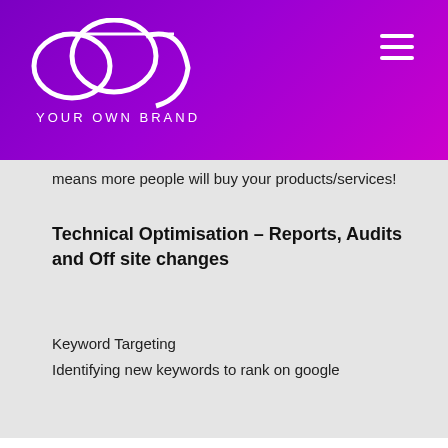[Figure (logo): Your Own Brand logo — stylized interlocked circles with 'Your Own Brand' text beneath, white on purple gradient header background]
means more people will buy your products/services!
Technical Optimisation – Reports, Audits and Off site changes
Keyword Targeting
Identifying new keywords to rank on google
We use cookies on our website to give you the most relevant experience by remembering your preferences and repeat visits. By clicking "Accept All", you consent to the use of ALL the cookies. However, you may visit "Cookie Settings" to provide a controlled consent.